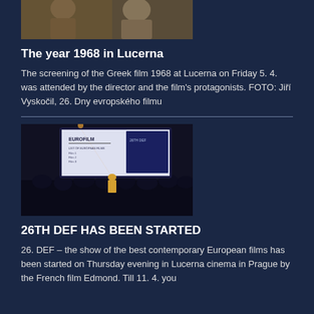[Figure (photo): Two men standing together at an event, partial crop showing upper torsos]
The year 1968 in Lucerna
The screening of the Greek film 1968 at Lucerna on Friday 5. 4. was attended by the director and the film's protagonists. FOTO: Jiří Vyskočil, 26. Dny evropského filmu
[Figure (photo): Cinema audience in the dark watching a large screen displaying EUROFILM event presentation, with a presenter in orange standing on stage]
26TH DEF HAS BEEN STARTED
26. DEF – the show of the best contemporary European films has been started on Thursday evening in Lucerna cinema in Prague by the French film Edmond. Till 11. 4. you